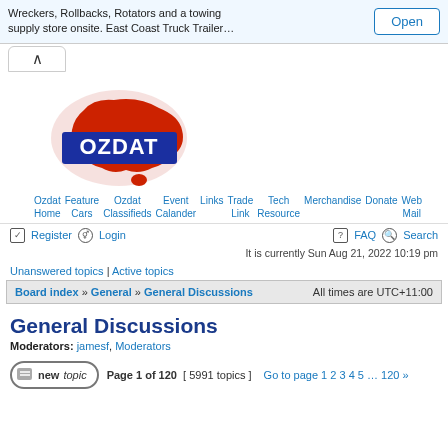Wreckers, Rollbacks, Rotators and a towing supply store onsite. East Coast Truck Trailer…
[Figure (logo): OZDAT logo with red Australia map outline and blue OZDAT text banner]
Ozdat Home   Feature Cars   Ozdat Classifieds   Event Calander   Links   Trade Link   Tech Resource   Merchandise   Donate   Web Mail
Register   Login   FAQ   Search
It is currently Sun Aug 21, 2022 10:19 pm
Unanswered topics | Active topics
Board index » General » General Discussions   All times are UTC+11:00
General Discussions
Moderators: jamesf, Moderators
new topic   Page 1 of 120  [ 5991 topics ]   Go to page 1 2 3 4 5 … 120 »